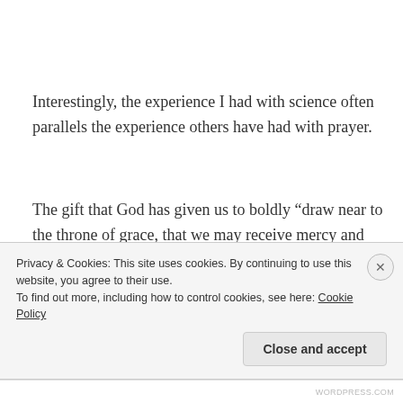Interestingly, the experience I had with science often parallels the experience others have had with prayer.
The gift that God has given us to boldly “draw near to the throne of grace, that we may receive mercy and find grace to help in time of need” (Heb. 4:16) and the promise of “Ask, and it will be given to you; seek, and you will find; knock, and it will be opened to you” (Matt. 7:7)
Privacy & Cookies: This site uses cookies. By continuing to use this website, you agree to their use.
To find out more, including how to control cookies, see here: Cookie Policy
Close and accept
WORDPRESS.COM